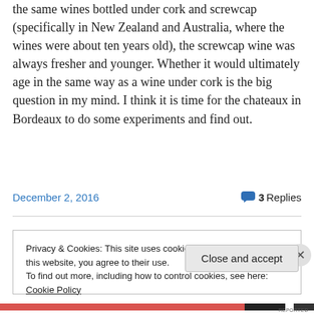the same wines bottled under cork and screwcap (specifically in New Zealand and Australia, where the wines were about ten years old), the screwcap wine was always fresher and younger. Whether it would ultimately age in the same way as a wine under cork is the big question in my mind. I think it is time for the chateaux in Bordeaux to do some experiments and find out.
December 2, 2016   💬 3 Replies
Privacy & Cookies: This site uses cookies. By continuing to use this website, you agree to their use.
To find out more, including how to control cookies, see here: Cookie Policy
Close and accept